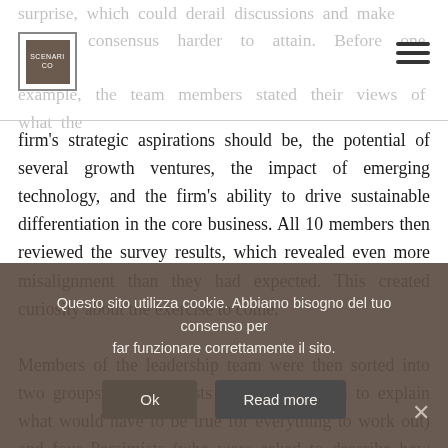surprise, which could derail discussions and make consensus harder to attain. Before one session, for example, the team members stated their views of what the firm's strategic aspirations should be, the potential of several growth ventures, the impact of emerging technology, and the firm's ability to drive sustainable differentiation in the core business. All 10 members then reviewed the survey results, which revealed even more misalignment than they had expected. This created curiosity about the exercise to come.
Members of the leadership team were then sorted into two groups: six Optimists (who were asked to explain what would have to be true for everything to work out) and four Pessimists (who were asked to describe how things could go wrong). Labeling the two groups in this exaggerated way
Questo sito utilizza cookie. Abbiamo bisogno del tuo consenso per far funzionare correttamente il sito.